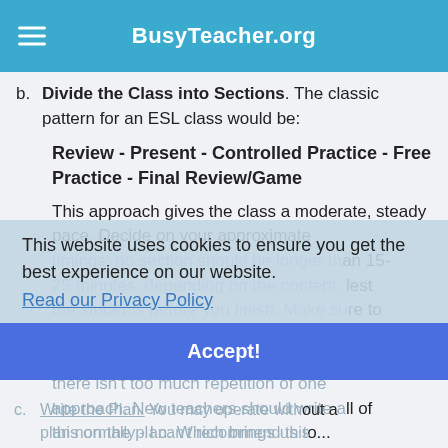BusyTeacher.org
b. Divide the Class into Sections. The classic pattern for an ESL class would be:
Review - Present - Controlled Practice - Free Practice - Final Review/Game
This approach gives the class a moderate, steady pace. Decide on your approximate timings: no section should be longer than 15-25 minutes, depending on the content. Test the students before you finish. Make sure to vary the interaction types (Teacher to Student, Student to Student, etc) so that there isn't too much repetition of one approach. New teachers should write all of this on the plan. Which brings us to...
This website uses cookies to ensure you get the best experience on our website.
Read our Privacy Policy
Accept!
c. Write the Plan. You may operate without a plan normally - I can't recommend this